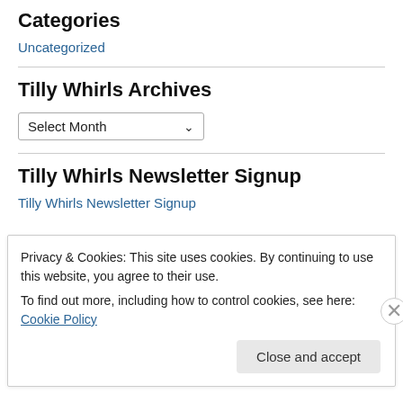Categories
Uncategorized
Tilly Whirls Archives
Select Month
Tilly Whirls Newsletter Signup
Tilly Whirls Newsletter Signup
Privacy & Cookies: This site uses cookies. By continuing to use this website, you agree to their use.
To find out more, including how to control cookies, see here: Cookie Policy
Close and accept